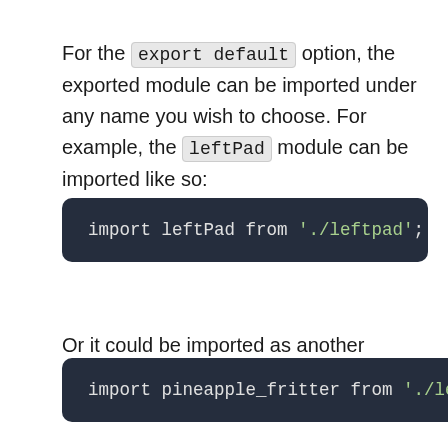For the export default option, the exported module can be imported under any name you wish to choose. For example, the leftPad module can be imported like so:
[Figure (screenshot): Dark code block showing: import leftPad from './leftpad';]
Or it could be imported as another name, like so:
[Figure (screenshot): Dark code block showing: import pineapple_fritter from './leftpad]
Functionally, both will work exactly the same, but